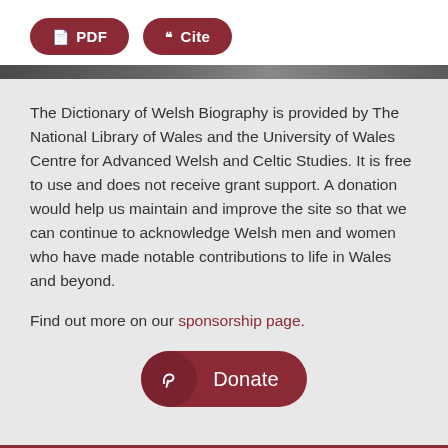[Figure (other): Two pill-shaped buttons: PDF button with document icon and Cite button with quotation mark icon, both in dark red]
[Figure (photo): Dark horizontal image bar showing a partial photograph]
The Dictionary of Welsh Biography is provided by The National Library of Wales and the University of Wales Centre for Advanced Welsh and Celtic Studies. It is free to use and does not receive grant support. A donation would help us maintain and improve the site so that we can continue to acknowledge Welsh men and women who have made notable contributions to life in Wales and beyond.
Find out more on our sponsorship page.
[Figure (other): Donate button in dark red pill shape with PayPal-style icon on left circle]
Privacy & Cookies    Help